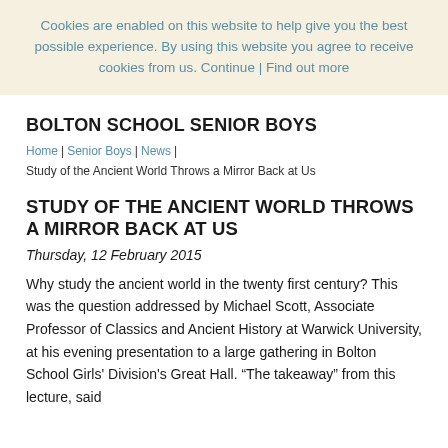Cookies are enabled on this website to help give you the best possible experience. By using this website you agree to receive cookies from us. Continue | Find out more
BOLTON SCHOOL SENIOR BOYS
Home | Senior Boys | News | Study of the Ancient World Throws a Mirror Back at Us
STUDY OF THE ANCIENT WORLD THROWS A MIRROR BACK AT US
Thursday, 12 February 2015
Why study the ancient world in the twenty first century? This was the question addressed by Michael Scott, Associate Professor of Classics and Ancient History at Warwick University, at his evening presentation to a large gathering in Bolton School Girls' Division's Great Hall. "The takeaway" from this lecture, said